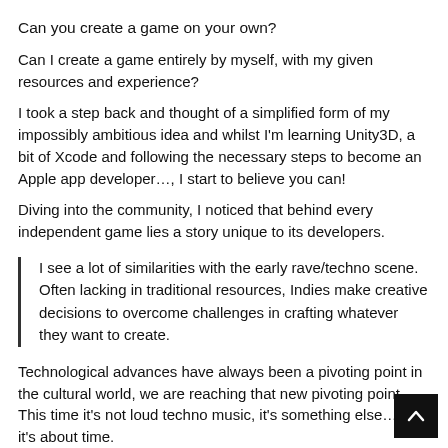Can you create a game on your own?
Can I create a game entirely by myself, with my given resources and experience?
I took a step back and thought of a simplified form of my impossibly ambitious idea and whilst I'm learning Unity3D, a bit of Xcode and following the necessary steps to become an Apple app developer…, I start to believe you can!
Diving into the community, I noticed that behind every independent game lies a story unique to its developers.
I see a lot of similarities with the early rave/techno scene. Often lacking in traditional resources, Indies make creative decisions to overcome challenges in crafting whatever they want to create.
Technological advances have always been a pivoting point in the cultural world, we are reaching that new pivoting point. This time it's not loud techno music, it's something else… and it's about time.